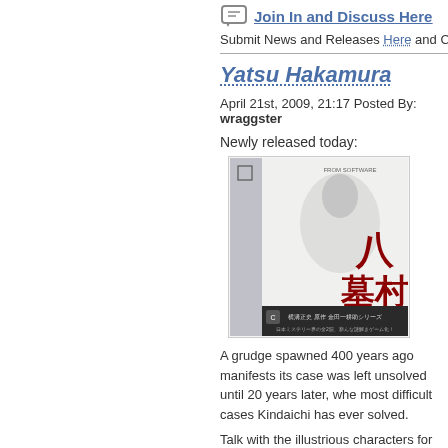Join In and Discuss Here
Submit News and Releases Here and Contact
Yatsu Hakamura
April 21st, 2009, 21:17 Posted By: wraggster
Newly released today:
[Figure (photo): Nintendo DS game box art for Yatsu Hakamura (八つ墓村), featuring a hooded figure and Japanese characters, published by From Software.]
A grudge spawned 400 years ago manifests its case was left unsolved until 20 years later, whe most difficult cases Kindaichi has ever solved.
Talk with the illustrious characters for hints and witnesses and related personnel for different re Besides solving the case along the main stor